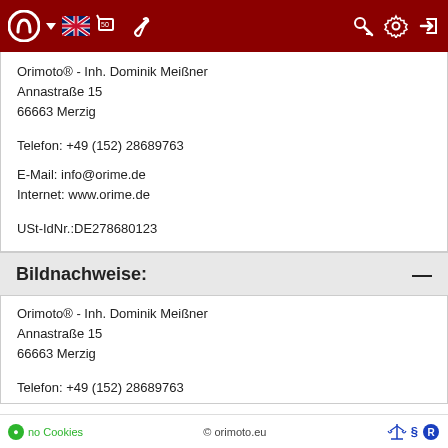Orimoto navigation bar with logo, language selector, and icons
Orimoto® - Inh. Dominik Meißner
Annastraße 15
66663 Merzig

Telefon: +49 (152) 28689763

E-Mail: info@orime.de
Internet: www.orime.de

USt-IdNr.:DE278680123
Bildnachweise:
Orimoto® - Inh. Dominik Meißner
Annastraße 15
66663 Merzig

Telefon: +49 (152) 28689763

E-Mail: info@orime.de
no Cookies   © orimoto.eu